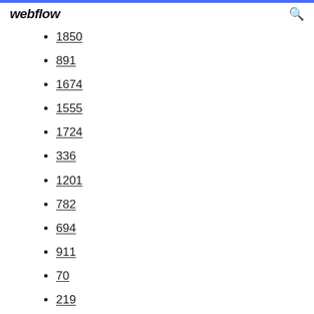webflow
1850
891
1674
1555
1724
336
1201
782
694
911
70
219
515